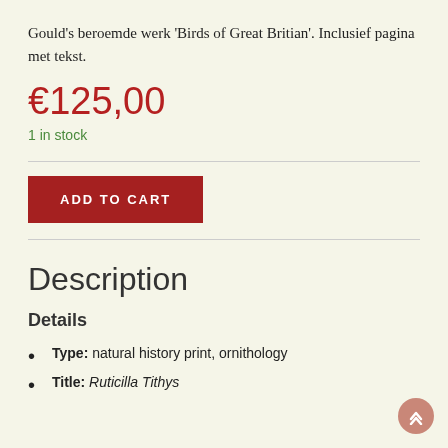Gould's beroemde werk 'Birds of Great Britian'. Inclusief pagina met tekst.
€125,00
1 in stock
[Figure (other): Red 'ADD TO CART' button]
Description
Details
Type: natural history print, ornithology
Title: Ruticilla Tithys